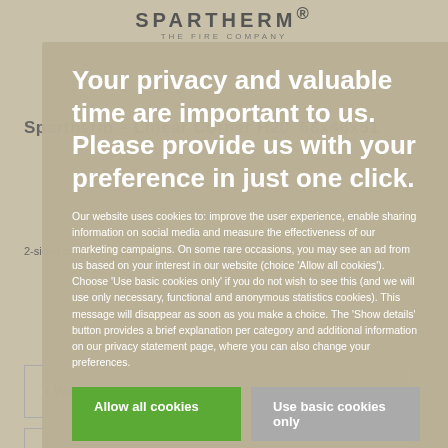SPARTHERM® THE FIRE COMPANY
Spartherm – Linear Corner H20_68x46x51
2-sided stylishness and flexibility.
I WANT ADVICE
I WANT A QUOTE
I WANT A BROCHURE
VIEW AT A DEALER
Your privacy and valuable time are important to us. Please provide us with your preference in just one click.
Our website uses cookies to: improve the user experience, enable sharing information on social media and measure the effectiveness of our marketing campaigns. On some rare occasions, you may see an ad from us based on your interest in our website (choice 'Allow all cookies'). Choose 'Use basic cookies only' if you do not wish to see this (and we will use only necessary, functional and anonymous statistics cookies). This message will disappear as soon as you make a choice. The 'Show details' button provides a brief explanation per category and additional information on our privacy statement page, where you can also change your preferences.
Allow all cookies
Use basic cookies only
Show details